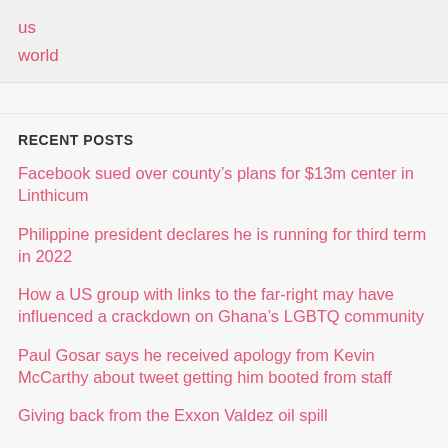us
world
RECENT POSTS
Facebook sued over county’s plans for $13m center in Linthicum
Philippine president declares he is running for third term in 2022
How a US group with links to the far-right may have influenced a crackdown on Ghana’s LGBTQ community
Paul Gosar says he received apology from Kevin McCarthy about tweet getting him booted from staff
Giving back from the Exxon Valdez oil spill